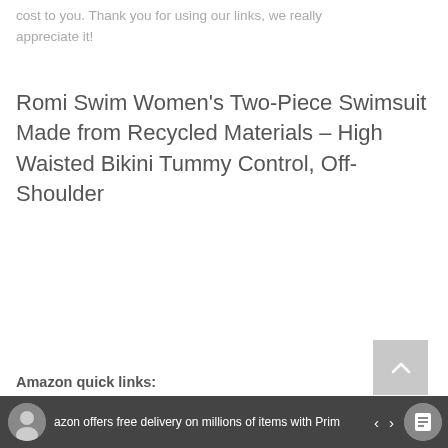Purchases made using our links to Amazon are at no extra cost to you. Thank you for using our links, we really appreciate it!
Romi Swim Women's Two-Piece Swimsuit Made from Recycled Materials – High Waisted Bikini Tummy Control, Off-Shoulder
BUY ON AMAZON
Amazon quick links:
Amazon offers free delivery on millions of items with Prime